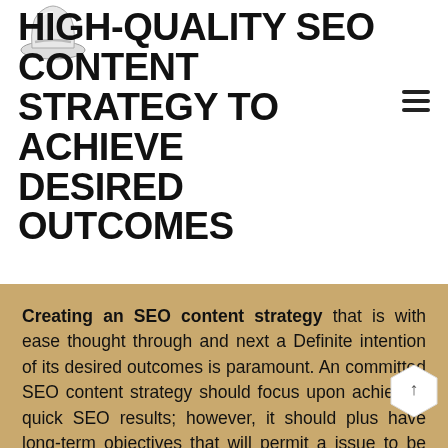[Figure (illustration): Cowboy hat illustration in top left corner]
HIGH-QUALITY SEO CONTENT STRATEGY TO ACHIEVE DESIRED OUTCOMES
Creating an SEO content strategy that is with ease thought through and next a Definite intention of its desired outcomes is paramount. An committed SEO content strategy should focus upon achieving quick SEO results; however, it should plus have long-term objectives that will permit a issue to be sustainable and prosperous. SEO Mafia thinks an SEO content strategy should go forward